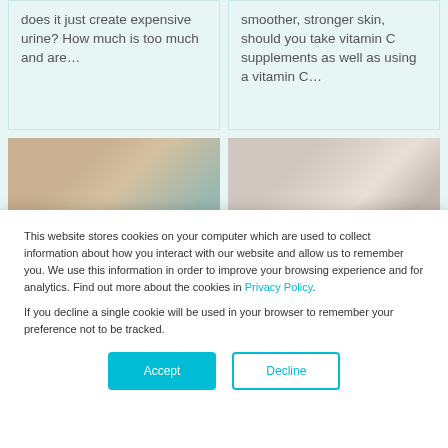does it just create expensive urine? How much is too much and are…
smoother, stronger skin, should you take vitamin C supplements as well as using a vitamin C…
[Figure (photo): Close-up of a hand holding a small ring]
[Figure (photo): Portrait of a blonde woman]
This website stores cookies on your computer which are used to collect information about how you interact with our website and allow us to remember you. We use this information in order to improve your browsing experience and for analytics. Find out more about the cookies in Privacy Policy.
If you decline a single cookie will be used in your browser to remember your preference not to be tracked.